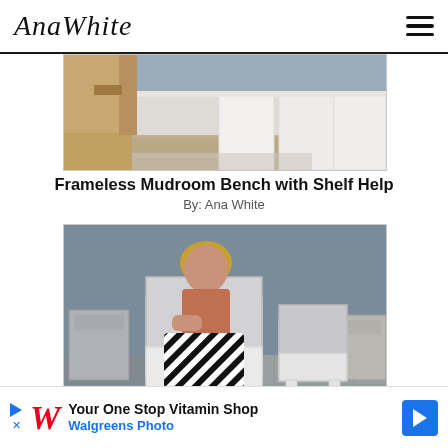AnaWhite
[Figure (photo): Photo of a frameless mudroom bench with shelves and white cabinet panels on a wood floor]
Frameless Mudroom Bench with Shelf Help
By: Ana White
[Figure (photo): Woman sitting in a white wood outdoor chair on a patio with a second matching chair beside her]
Essential Wood Outdoor Chair Frame for
[Figure (other): Walgreens Photo advertisement: Your One Stop Vitamin Shop / Walgreens Photo]